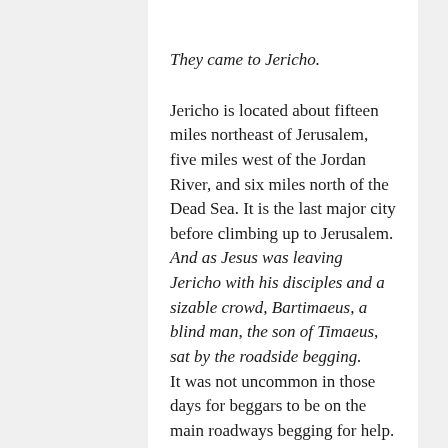They came to Jericho.
Jericho is located about fifteen miles northeast of Jerusalem, five miles west of the Jordan River, and six miles north of the Dead Sea. It is the last major city before climbing up to Jerusalem. And as Jesus was leaving Jericho with his disciples and a sizable crowd, Bartimaeus, a blind man, the son of Timaeus, sat by the roadside begging.
It was not uncommon in those days for beggars to be on the main roadways begging for help.
Imagine yourself being Bartimaeus. Try to feel what he may have felt at the moment.